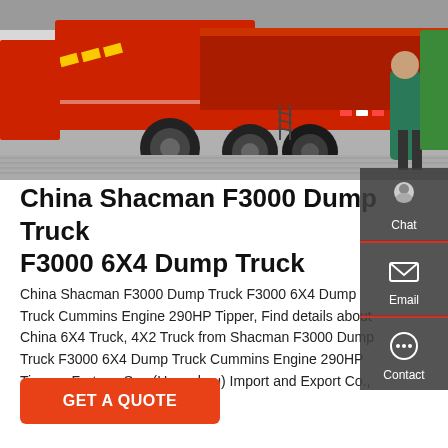[Figure (photo): Red Shacman F3000 dump/garbage trucks parked in a lot, with a person in a teal jacket visible on the right side.]
China Shacman F3000 Dump Truck F3000 6X4 Dump Truck
China Shacman F3000 Dump Truck F3000 6X4 Dump Truck Cummins Engine 290HP Tipper, Find details about China 6X4 Truck, 4X2 Truck from Shacman F3000 Dump Truck F3000 6X4 Dump Truck Cummins Engine 290HP Tipper - Fortune Sun (Hangzhou) Import and Export Co., Ltd.
GET A QUOTE